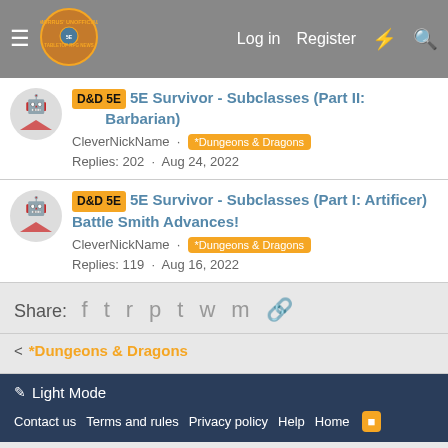Morrus' Unofficial Tabletop RPG News — Log in  Register
D&D 5E  5E Survivor - Subclasses (Part II: Barbarian)
CleverNickName · *Dungeons & Dragons
Replies: 202 · Aug 24, 2022
D&D 5E  5E Survivor - Subclasses (Part I: Artificer) Battle Smith Advances!
CleverNickName · *Dungeons & Dragons
Replies: 119 · Aug 16, 2022
Share:
< *Dungeons & Dragons
Light Mode
Contact us  Terms and rules  Privacy policy  Help  Home  RSS